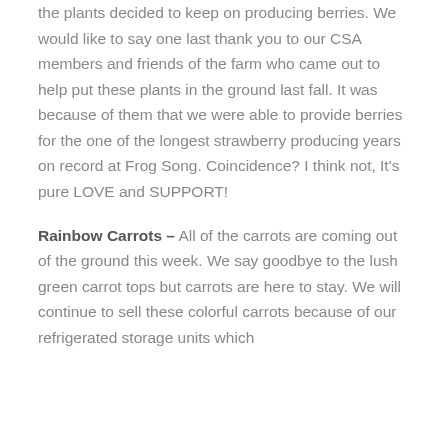the plants decided to keep on producing berries. We would like to say one last thank you to our CSA members and friends of the farm who came out to help put these plants in the ground last fall. It was because of them that we were able to provide berries for the one of the longest strawberry producing years on record at Frog Song. Coincidence? I think not, It's pure LOVE and SUPPORT!
Rainbow Carrots – All of the carrots are coming out of the ground this week. We say goodbye to the lush green carrot tops but carrots are here to stay. We will continue to sell these colorful carrots because of our refrigerated storage units which